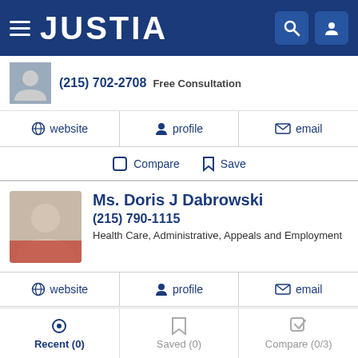JUSTIA
(215) 702-2708 Free Consultation
website | profile | email
Compare | Save
Ms. Doris J Dabrowski
(215) 790-1115
Health Care, Administrative, Appeals and Employment
website | profile | email
Compare | Save
Marc Goldich
Recent (0) | Saved (0) | Compare (0/3)